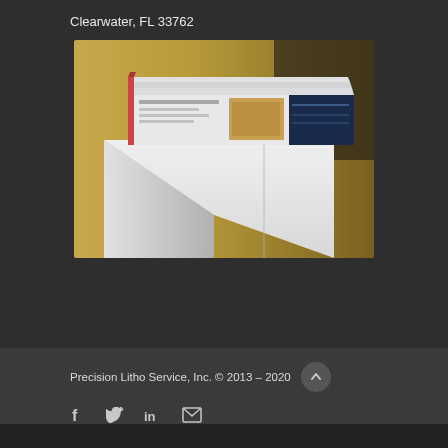Clearwater, FL 33762
[Figure (photo): Close-up photograph of a tall stack of printed paper/brochures, showing the side and top edges of many sheets with printed pages visible at the top of the stack, on a warm blurred background.]
Precision Litho Service, Inc. © 2013 – 2020
Social media icons: Facebook, Twitter, LinkedIn, Email